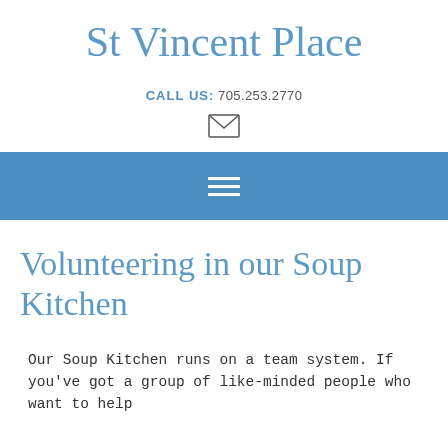St Vincent Place
CALL US: 705.253.2770
[Figure (other): Envelope icon (email link)]
[Figure (other): Hamburger menu icon (three horizontal lines) on blue navigation bar]
Volunteering in our Soup Kitchen
Our Soup Kitchen runs on a team system. If you've got a group of like-minded people who want to help